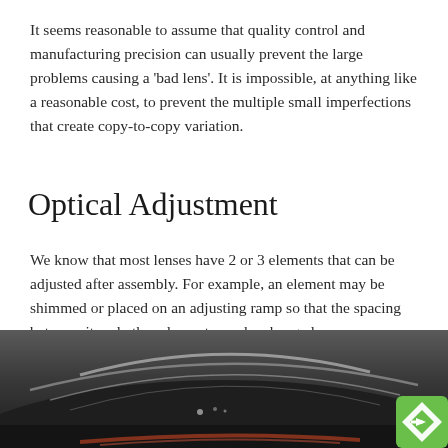It seems reasonable to assume that quality control and manufacturing precision can usually prevent the large problems causing a 'bad lens'. It is impossible, at anything like a reasonable cost, to prevent the multiple small imperfections that create copy-to-copy variation.
Optical Adjustment
We know that most lenses have 2 or 3 elements that can be adjusted after assembly. For example, an element may be shimmed or placed on an adjusting ramp so that the spacing between it and other elements can be changed.
[Figure (photo): Close-up photo of a camera lens element or optical glass component, showing curved glass surface with reflections, dark background. A green diamond-shaped logo badge appears in the bottom-right corner.]